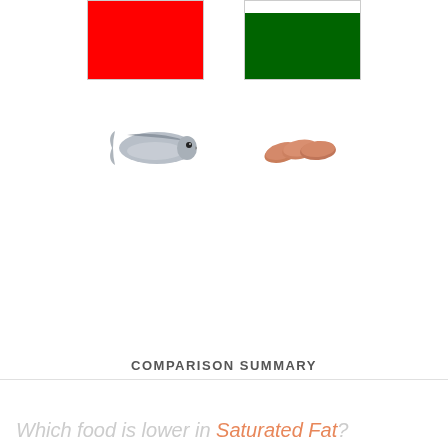[Figure (infographic): Two colored blocks side by side: a solid red block on the left, and a green block with a white stripe on top on the right, representing food comparison indicators]
[Figure (photo): Two food images: a small fish (mackerel or similar) on the left, and three pieces of raw chicken breast on the right]
COMPARISON SUMMARY
Which food is lower in Saturated Fat?